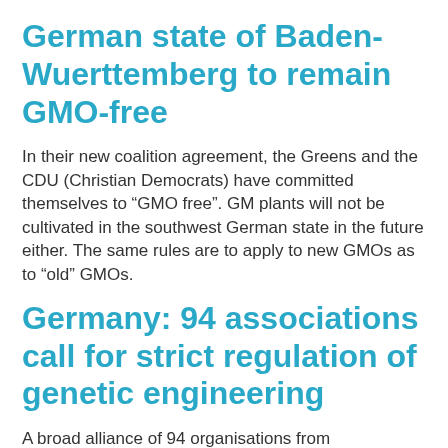German state of Baden-Wuerttemberg to remain GMO-free
In their new coalition agreement, the Greens and the CDU (Christian Democrats) have committed themselves to “GMO free”. GM plants will not be cultivated in the southwest German state in the future either. The same rules are to apply to new GMOs as to “old” GMOs.
Germany: 94 associations call for strict regulation of genetic engineering
A broad alliance of 94 organisations from environmental protection, animal welfare, nature conservation, development policy, churches, consumer protection